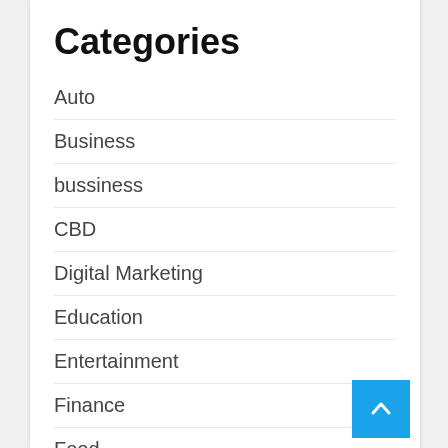Categories
Auto
Business
bussiness
CBD
Digital Marketing
Education
Entertainment
Finance
Food
games
general
Health